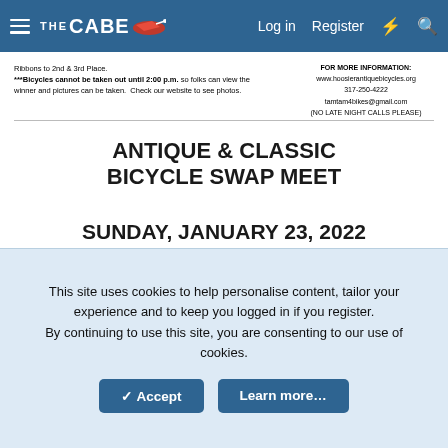THE CABE — Log in   Register
Ribbons to 2nd & 3rd Place.
***Bicycles cannot be taken out until 2:00 p.m. so folks can view the winner and pictures can be taken. Check our website to see photos.
FOR MORE INFORMATION:
www.hoosierantiquebicycles.org
317-250-4222
tamtam4bikes@gmail.com
(NO LATE NIGHT CALLS PLEASE)
ANTIQUE & CLASSIC BICYCLE SWAP MEET
SUNDAY, JANUARY 23, 2022
Shindigs, LLC
705 Herman Rd.
This site uses cookies to help personalise content, tailor your experience and to keep you logged in if you register.
By continuing to use this site, you are consenting to our use of cookies.